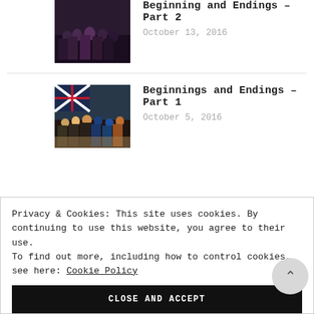[Figure (photo): Group photo of people, dark background, top article thumbnail]
Beginning and Endings – Part 2
October 13, 2016
[Figure (photo): Group photo of people with flag, second article thumbnail]
Beginnings and Endings – Part 1
October 5, 2016
Privacy & Cookies: This site uses cookies. By continuing to use this website, you agree to their use.
To find out more, including how to control cookies, see here: Cookie Policy
CLOSE AND ACCEPT